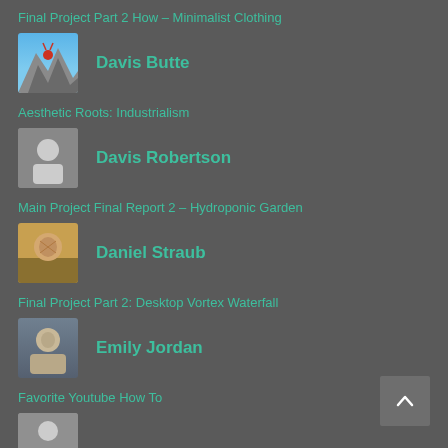Final Project Part 2 How – Minimalist Clothing
Davis Butte
Aesthetic Roots: Industrialism
Davis Robertson
Main Project Final Report 2 – Hydroponic Garden
Daniel Straub
Final Project Part 2: Desktop Vortex Waterfall
Emily Jordan
Favorite Youtube How To